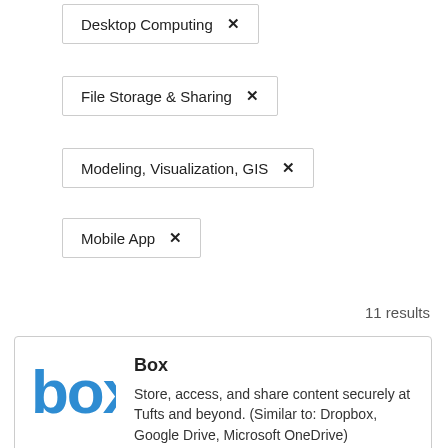Desktop Computing ×
File Storage & Sharing ×
Modeling, Visualization, GIS ×
Mobile App ×
11 results
[Figure (logo): Box logo in blue text]
Box
Store, access, and share content securely at Tufts and beyond. (Similar to: Dropbox, Google Drive, Microsoft OneDrive)
Learn More